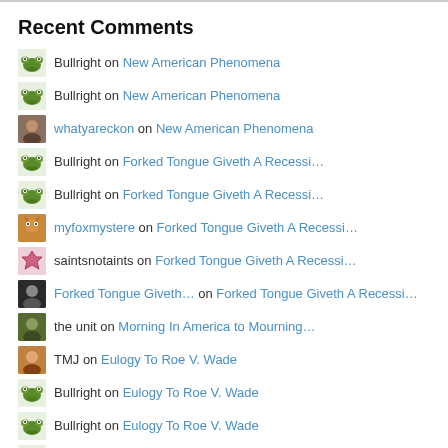Recent Comments
Bullright on New American Phenomena
Bullright on New American Phenomena
whatyareckon on New American Phenomena
Bullright on Forked Tongue Giveth A Recessi…
Bullright on Forked Tongue Giveth A Recessi…
myfoxmystere on Forked Tongue Giveth A Recessi…
saintsnotaints on Forked Tongue Giveth A Recessi…
Forked Tongue Giveth… on Forked Tongue Giveth A Recessi…
the unit on Morning In America to Mourning…
TMJ on Eulogy To Roe V. Wade
Bullright on Eulogy To Roe V. Wade
Bullright on Eulogy To Roe V. Wade
Bullright on Eulogy To Roe V. Wade
Bullright on Eulogy To Roe V. Wade
Bullright on God Hating Reprobates/Marxist/…